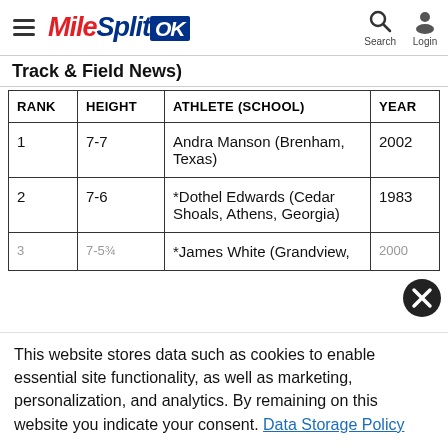MileSplit OK — Search | Login
Track & Field News)
| RANK | HEIGHT | ATHLETE (SCHOOL) | YEAR |
| --- | --- | --- | --- |
| 1 | 7-7 | Andra Manson (Brenham, Texas) | 2002 |
| 2 | 7-6 | *Dothel Edwards (Cedar Shoals, Athens, Georgia) | 1983 |
| 3 | 7-5¾ | *James White (Grandview, | 2000 |
This website stores data such as cookies to enable essential site functionality, as well as marketing, personalization, and analytics. By remaining on this website you indicate your consent. Data Storage Policy